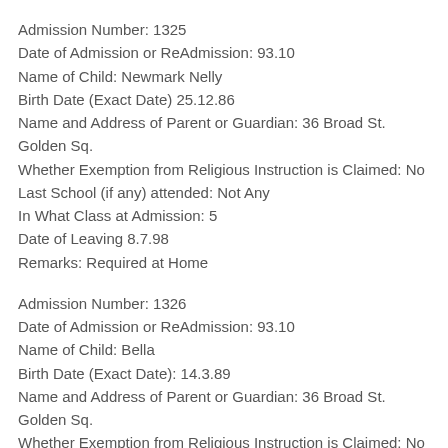Admission Number: 1325
Date of Admission or ReAdmission: 93.10
Name of Child: Newmark Nelly
Birth Date (Exact Date) 25.12.86
Name and Address of Parent or Guardian: 36 Broad St. Golden Sq.
Whether Exemption from Religious Instruction is Claimed: No
Last School (if any) attended: Not Any
In What Class at Admission: 5
Date of Leaving 8.7.98
Remarks: Required at Home
Admission Number: 1326
Date of Admission or ReAdmission: 93.10
Name of Child: Bella
Birth Date (Exact Date): 14.3.89
Name and Address of Parent or Guardian: 36 Broad St. Golden Sq.
Whether Exemption from Religious Instruction is Claimed: No
Last School (if any) attended: Not Any